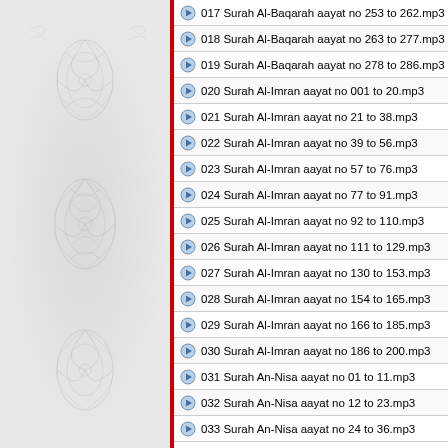[Figure (illustration): Decorative arabesque/floral ornament pattern on gray background with red left border stripe]
017 Surah Al-Baqarah aayat no 253 to 262.mp3
018 Surah Al-Baqarah aayat no 263 to 277.mp3
019 Surah Al-Baqarah aayat no 278 to 286.mp3
020 Surah Al-Imran aayat no 001 to 20.mp3
021 Surah Al-Imran aayat no 21 to 38.mp3
022 Surah Al-Imran aayat no 39 to 56.mp3
023 Surah Al-Imran aayat no 57 to 76.mp3
024 Surah Al-Imran aayat no 77 to 91.mp3
025 Surah Al-Imran aayat no 92 to 110.mp3
026 Surah Al-Imran aayat no 111 to 129.mp3
027 Surah Al-Imran aayat no 130 to 153.mp3
028 Surah Al-Imran aayat no 154 to 165.mp3
029 Surah Al-Imran aayat no 166 to 185.mp3
030 Surah Al-Imran aayat no 186 to 200.mp3
031 Surah An-Nisa aayat no 01 to 11.mp3
032 Surah An-Nisa aayat no 12 to 23.mp3
033 Surah An-Nisa aayat no 24 to 36.mp3